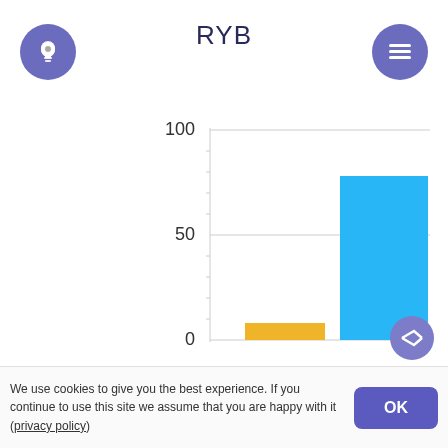RYB
[Figure (bar-chart): RYB]
We use cookies to give you the best experience. If you continue to use this site we assume that you are happy with it (privacy policy)